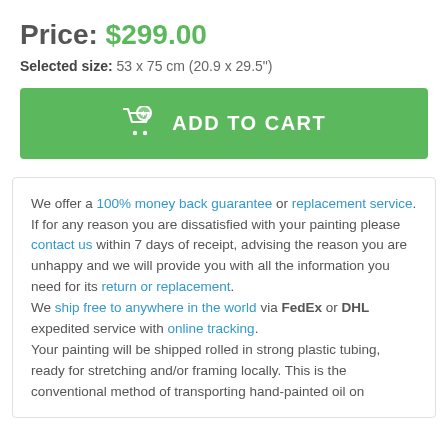Price: $299.00
Selected size: 53 x 75 cm (20.9 x 29.5")
[Figure (other): Green 'ADD TO CART' button with shopping cart icon]
We offer a 100% money back guarantee or replacement service. If for any reason you are dissatisfied with your painting please contact us within 7 days of receipt, advising the reason you are unhappy and we will provide you with all the information you need for its return or replacement.
We ship free to anywhere in the world via FedEx or DHL expedited service with online tracking.
Your painting will be shipped rolled in strong plastic tubing, ready for stretching and/or framing locally. This is the conventional method of transporting hand-painted oil on